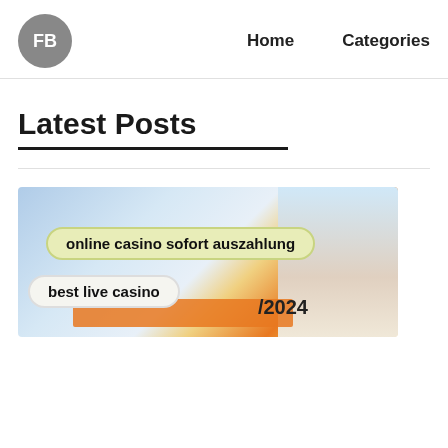FB  Home  Categories
Latest Posts
[Figure (photo): Blog post thumbnail image with a person holding a document, with overlaid keyword tags 'online casino sofort auszahlung' and 'best live casino', and a partial year '2024' visible on a document.]